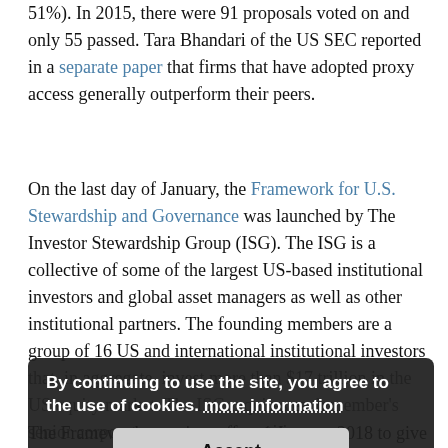51%). In 2015, there were 91 proposals voted on and only 55 passed. Tara Bhandari of the US SEC reported in a separate paper that firms that have adopted proxy access generally outperform their peers.
On the last day of January, the Framework for U.S. Stewardship and Governance was launched by The Investor Stewardship Group (ISG). The ISG is a collective of some of the largest US-based institutional investors and global asset managers as well as other institutional partners. The founding members are a group of 16 US and international institutional investors that, in aggregate, invest more than $17 trillion in the US equity market. The ISG requires each member's senior corporate governance practitioners.
The Framework goes into effect 1 January 2018 to give